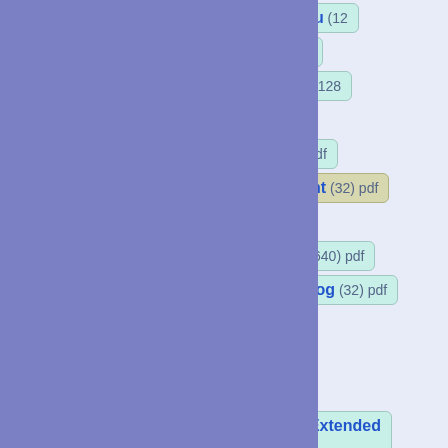Oriya (128) pdf
Tamil (128) pdf
Telugu (128) pdf
Kannada (128) pdf
Malayalam (128) pdf
Sinhala (128) pdf
Thai (128) pdf
Lao (128) pdf
Tibetan (256) pdf
Myanmar (160) pdf
Georgian (96) pdf
Hangul Jamo (256) pdf
Ethiopic (384) pdf
Ethiopic Supplement (32) pdf
Cherokee (96) pdf
Unified Canadian Aboriginal Syllabics (640) pdf
Ogham (32) pdf
Runic (96) pdf
Tagalog (32) pdf
Hanunoo (32) pdf
Buhid (32) pdf
Tagbanwa (32) pdf
Khmer (128) pdf
Mongolian (176) pdf
Unified Canadian Aboriginal Syllabics Extended pdf
Limbu (80) pdf
Tai Le (48) pdf
New Tai Lue (96) pdf
Khmer Symbols (32) pdf
Buginese (32) pdf
Tai Tham (144) pdf
Combining Diacritical Marks Extended (80) pdf